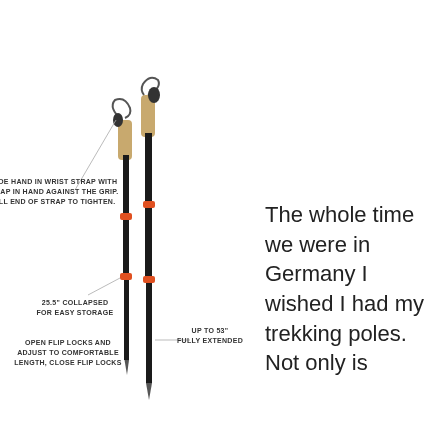[Figure (illustration): Two trekking poles shown vertically with annotations: 'SLIDE HAND IN WRIST STRAP WITH STRAP IN HAND AGAINST THE GRIP. PULL END OF STRAP TO TIGHTEN.', '25.5" COLLAPSED FOR EASY STORAGE', 'OPEN FLIP LOCKS AND ADJUST TO COMFORTABLE LENGTH, CLOSE FLIP LOCKS', 'UP TO 53" FULLY EXTENDED']
The whole time we were in Germany I wished I had my trekking poles. Not only is